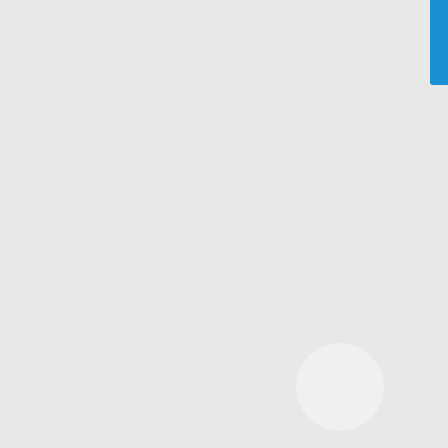[Figure (screenshot): Screenshot of a webpage loading state with a large light gray circle, four smaller circles (white, red/salmon, light blue, teal), a blue vertical bar in the top-right corner, and a red cookie consent banner at the bottom containing consent text and an Accept button.]
By continuing to use the site, you agree to the use of cookies and tracking. more information
Accept